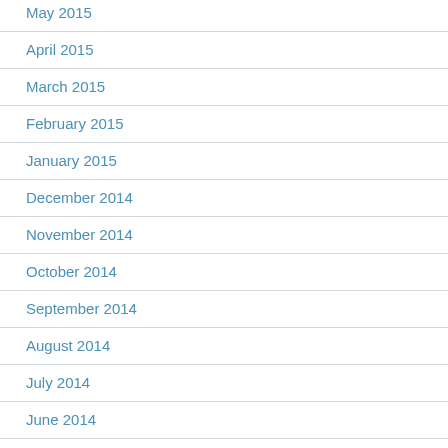May 2015
April 2015
March 2015
February 2015
January 2015
December 2014
November 2014
October 2014
September 2014
August 2014
July 2014
June 2014
May 2014